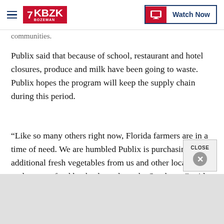KBZK BOZEMAN | Watch Now
communities.
Publix said that because of school, restaurant and hotel closures, produce and milk have been going to waste. Publix hopes the program will keep the supply chain during this period.
“Like so many others right now, Florida farmers are in a time of need. We are humbled Publix is purchasing additional fresh vegetables from us and other local farms to donate to food banks throughout the Southeast,” said Pero Family Farms Food Co. CEO Peter F. Pero IV. “Thank you to Publix, the